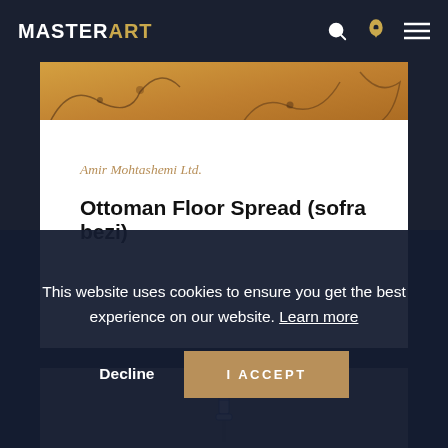MASTERART
[Figure (photo): Decorative orange/gold painting strip at top of page content area]
Amir Mohtashemi Ltd.
Ottoman Floor Spread (sofra bezi)
[Figure (photo): Blue and white ceramic/porcelain object on grey background]
This website uses cookies to ensure you get the best experience on our website. Learn more
Decline
I ACCEPT